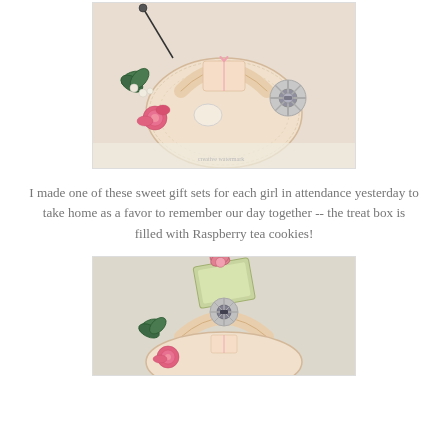[Figure (photo): A decorative gift basket/box in cream lace texture with a pink rose, holly leaves, pearl accents, and a jeweled snowflake brooch. The box contains a wrapped gift tied with pink ribbon.]
I made one of these sweet gift sets for each girl in attendance yesterday to take home as a favor to remember our day together -- the treat box is filled with Raspberry tea cookies!
[Figure (photo): A similar decorative gift basket in cream with a pink rose, holly leaves, jeweled brooch, and a decorative card with pink bow on top.]